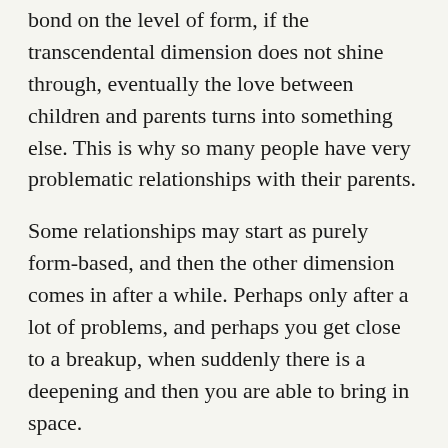bond on the level of form, if the transcendental dimension does not shine through, eventually the love between children and parents turns into something else. This is why so many people have very problematic relationships with their parents.
Some relationships may start as purely form-based, and then the other dimension comes in after a while. Perhaps only after a lot of problems, and perhaps you get close to a breakup, when suddenly there is a deepening and then you are able to bring in space.
The key is to ask, “Is there space in this relationship?” Or are there only thoughts and emotions? It’s dreadful prison to inhabit if you live with a person and all you have are thoughts and emotions. Occasionally you are okay, but there is disagreement, friction.